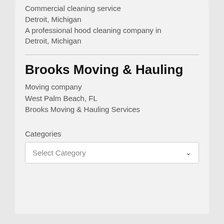Commercial cleaning service
Detroit, Michigan
A professional hood cleaning company in Detroit, Michigan
Brooks Moving & Hauling
Moving company
West Palm Beach, FL
Brooks Moving & Hauling Services
Categories
Select Category